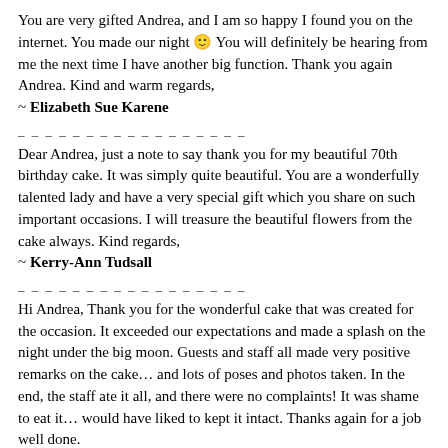You are very gifted Andrea, and I am so happy I found you on the internet. You made our night 🙂 You will definitely be hearing from me the next time I have another big function. Thank you again Andrea. Kind and warm regards,
~ Elizabeth Sue Karene
_ _ _ _ _ _ _ _ _ _ _ _ _ _ _ _ _
Dear Andrea, just a note to say thank you for my beautiful 70th birthday cake. It was simply quite beautiful. You are a wonderfully talented lady and have a very special gift which you share on such important occasions. I will treasure the beautiful flowers from the cake always. Kind regards,
~ Kerry-Ann Tudsall
_ _ _ _ _ _ _ _ _ _ _ _ _ _ _ _ _
Hi Andrea, Thank you for the wonderful cake that was created for the occasion. It exceeded our expectations and made a splash on the night under the big moon. Guests and staff all made very positive remarks on the cake… and lots of poses and photos taken. In the end, the staff ate it all, and there were no complaints! It was shame to eat it… would have liked to kept it intact. Thanks again for a job well done.
~ Patrick Chung
Director & General Manager, APEC
_ _ _ _ _ _ _ _ _ _ _ _ _ _ _
Hi Andrea, the cake was so amazing I cannot put it into words! Chelsea was so amazed by it she burst into tears it was soo